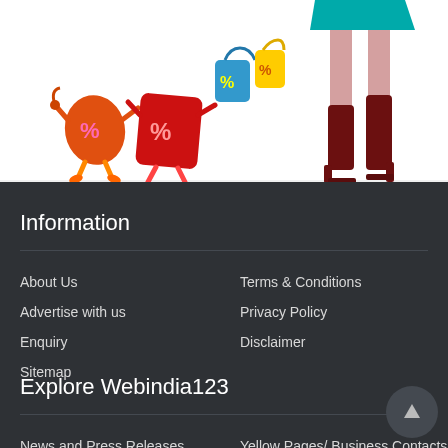[Figure (illustration): Shopping illustration: cartoon percentage sign characters carrying shopping bags alongside a stylish woman walking in boots and a teal skirt]
Information
About Us
Terms & Conditions
Advertise with us
Privacy Policy
Enquiry
Disclaimer
Sitemap
Explore Webindia123
News and Press Releases
Yellow Pages/ Business Contacts